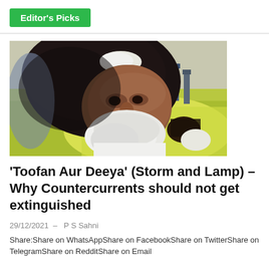Editor's Picks
[Figure (photo): Close-up photo of an elderly Sikh man wearing a dark turban with a white fold, having a white beard, outdoors with people and green grass visible in the background]
‘Toofan Aur Deeya’ (Storm and Lamp) – Why Countercurrents should not get extinguished
29/12/2021  –  P S Sahni
Share:Share on WhatsAppShare on FacebookShare on TwitterShare on TelegramShare on RedditShare on Email